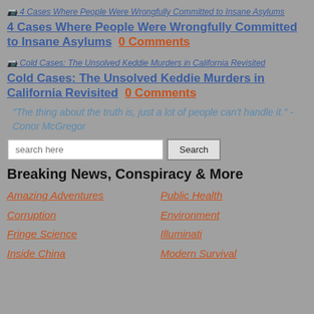[Figure (other): Broken image link for '4 Cases Where People Were Wrongfully Committed to Insane Asylums']
4 Cases Where People Were Wrongfully Committed to Insane Asylums 0 Comments
[Figure (other): Broken image link for 'Cold Cases: The Unsolved Keddie Murders in California Revisited']
Cold Cases: The Unsolved Keddie Murders in California Revisited 0 Comments
"The thing about the truth is, just a lot of people can't handle it." -Conor McGregor
search here [Search]
Breaking News, Conspiracy & More
Amazing Adventures
Public Health
Corruption
Environment
Fringe Science
Illuminati
Inside China
Modern Survival